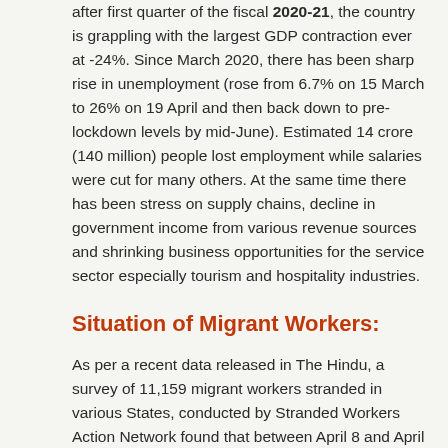after first quarter of the fiscal 2020-21, the country is grappling with the largest GDP contraction ever at -24%. Since March 2020, there has been sharp rise in unemployment (rose from 6.7% on 15 March to 26% on 19 April and then back down to pre-lockdown levels by mid-June). Estimated 14 crore (140 million) people lost employment while salaries were cut for many others. At the same time there has been stress on supply chains, decline in government income from various revenue sources and shrinking business opportunities for the service sector especially tourism and hospitality industries.
Situation of Migrant Workers:
As per a recent data released in The Hindu, a survey of 11,159 migrant workers stranded in various States, conducted by Stranded Workers Action Network found that between April 8 and April 13, more than 90% did not receive rations from the government. Close to 90% of those surveyed did not get paid by their employers. From March 27 to April 13, 70% of the surveyed workers had only less than ₹200 left with them. The situation prompted mass exodus of migrant workers from cities to their